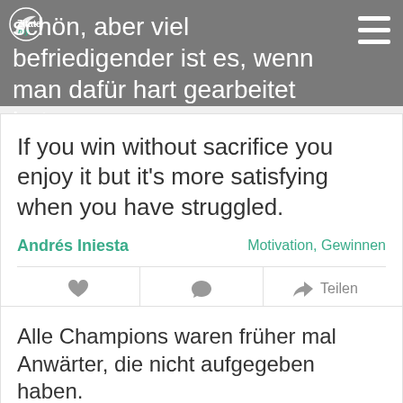schön, aber viel befriedigender ist es, wenn man dafür hart gearbeitet hat.
If you win without sacrifice you enjoy it but it's more satisfying when you have struggled.
Andrés Iniesta — Motivation, Gewinnen
Alle Champions waren früher mal Anwärter, die nicht aufgegeben haben.
Every champion was once a contender that refused to give up.